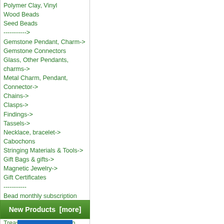Polymer Clay, Vinyl
Wood Beads
Seed Beads
----------->
Gemstone Pendant, Charm->
Gemstone Connectors
Glass, Other Pendants, charms->
Metal Charm, Pendant, Connector->
Chains->
Clasps->
Findings->
Tassels->
Necklace, bracelet->
Cabochons
Stringing Materials & Tools->
Gift Bags & gifts->
Magnetic Jewelry->
Gift Certificates
-----------
Bead monthly subscription
TreasureStone Designs
Custom Beading Gift Kits
TreasureStone Gifts to-go
Crystals & Healing Stones->
Useful Videos
Finished Jewellery
Special order
New Products ...
All Products ...
New Products  [more]